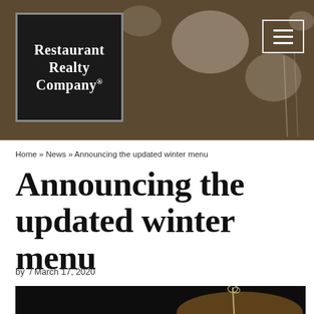[Figure (photo): Header banner with food/restaurant overhead photo showing plates and glasses on a wooden table, with a dark overlay. Restaurant Realty Company logo in black box on the left, and hamburger menu button on the right.]
Home » News » Announcing the updated winter menu
Announcing the updated winter menu
by  / March 17, 2020
[Figure (photo): Dark food photo showing a skewer or decorative stick in a burger/food item against a black background.]